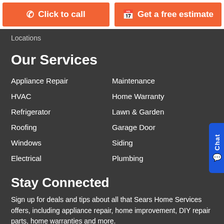Click to call
Get a free estimate
Locations
Our Services
Appliance Repair
Maintenance
HVAC
Home Warranty
Refrigerator
Lawn & Garden
Roofing
Garage Door
Windows
Siding
Electrical
Plumbing
Stay Connected
Sign up for deals and tips about all that Sears Home Services offers, including appliance repair, home improvement, DIY repair parts, home warranties and more.